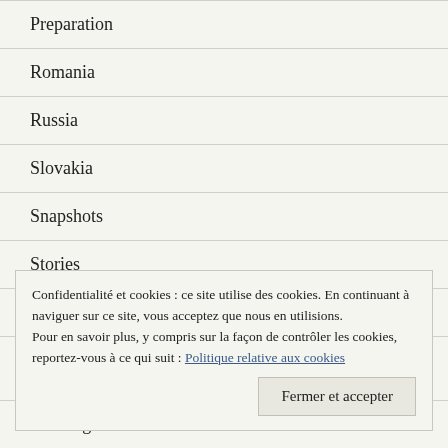Preparation
Romania
Russia
Slovakia
Snapshots
Stories
Thailand
Confidentialité et cookies : ce site utilise des cookies. En continuant à naviguer sur ce site, vous acceptez que nous en utilisions. Pour en savoir plus, y compris sur la façon de contrôler les cookies, reportez-vous à ce qui suit : Politique relative aux cookies
Training